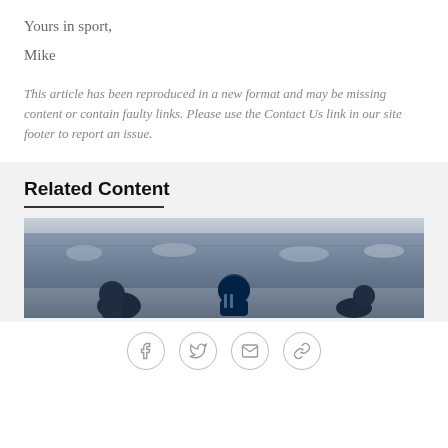Yours in sport,
Mike
This article has been reproduced in a new format and may be missing content or contain faulty links. Please use the Contact Us link in our site footer to report an issue.
Related Content
[Figure (photo): Photo of football players in dark helmets on a field with stadium seating visible in the background]
[Figure (other): Social sharing icons: Facebook, Twitter, Email, Link]